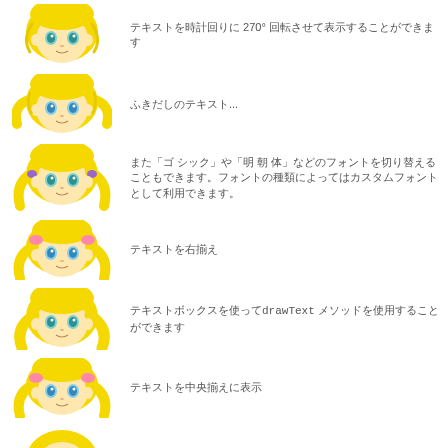[Figure (illustration): Anime girl face illustration, blonde hair, teal eyes]
テキストを時計回りに 270° 回転させて表示することができます
[Figure (illustration): Anime girl face illustration, blonde twin tails, blue eyes]
ふきだしのテキスト...
[Figure (illustration): Anime girl face illustration, blonde twin tails, green eyes]
また「ゴ シック」や「明 朝 体」などのフォントを切り替えることもできます。フォントの種類によってはカスタムフォントとして利用できます。
[Figure (illustration): Anime girl face illustration, blonde twin tails with pink ribbons, blue eyes]
テキストを右揃え
[Figure (illustration): Anime girl face illustration, blonde twin tails, green eyes]
テキストボックスを使ってdrawText メソッドを使用することができます
[Figure (illustration): Anime girl face illustration, blonde twin tails with pink ribbons, blue eyes]
テキストを中央揃えに表示
[Figure (illustration): Anime girl face illustration, blonde hair partially visible at bottom]